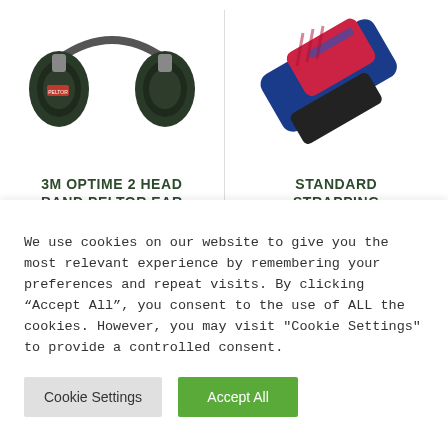[Figure (photo): 3M Optime 2 Head Band Peltor Ear muffs — dark green/black over-ear hearing protection headset]
[Figure (photo): Standard Strapping tool — blue and red plastic handheld strapping dispenser/tensioner tool]
3M OPTIME 2 HEAD BAND PELTOR EAR
STANDARD STRAPPING
We use cookies on our website to give you the most relevant experience by remembering your preferences and repeat visits. By clicking “Accept All”, you consent to the use of ALL the cookies. However, you may visit "Cookie Settings" to provide a controlled consent.
Cookie Settings
Accept All